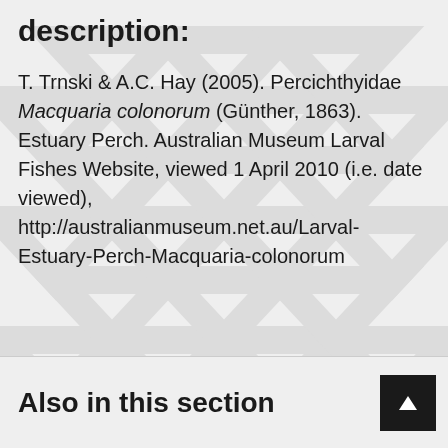description:
T. Trnski & A.C. Hay (2005). Percichthyidae Macquaria colonorum (Günther, 1863). Estuary Perch. Australian Museum Larval Fishes Website, viewed 1 April 2010 (i.e. date viewed), http://australianmuseum.net.au/Larval-Estuary-Perch-Macquaria-colonorum
Also in this section